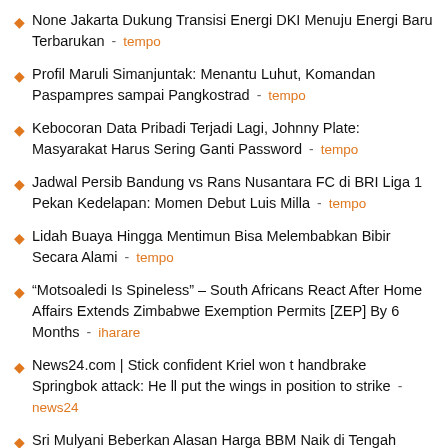None Jakarta Dukung Transisi Energi DKI Menuju Energi Baru Terbarukan – tempo
Profil Maruli Simanjuntak: Menantu Luhut, Komandan Paspampres sampai Pangkostrad – tempo
Kebocoran Data Pribadi Terjadi Lagi, Johnny Plate: Masyarakat Harus Sering Ganti Password – tempo
Jadwal Persib Bandung vs Rans Nusantara FC di BRI Liga 1 Pekan Kedelapan: Momen Debut Luis Milla – tempo
Lidah Buaya Hingga Mentimun Bisa Melembabkan Bibir Secara Alami – tempo
“Motsoaledi Is Spineless” – South Africans React After Home Affairs Extends Zimbabwe Exemption Permits [ZEP] By 6 Months – iharare
News24.com | Stick confident Kriel won t handbrake Springbok attack: He ll put the wings in position to strike – news24
Sri Mulyani Beberkan Alasan Harga BBM Naik di Tengah ...